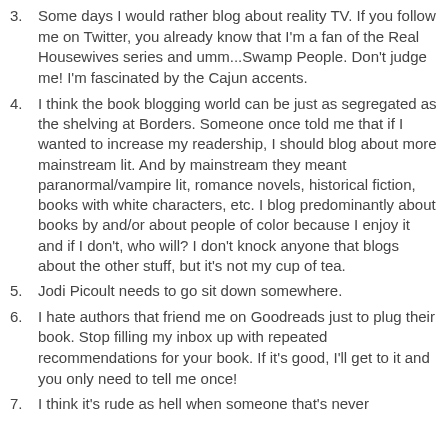3. Some days I would rather blog about reality TV. If you follow me on Twitter, you already know that I'm a fan of the Real Housewives series and umm...Swamp People. Don't judge me! I'm fascinated by the Cajun accents.
4. I think the book blogging world can be just as segregated as the shelving at Borders. Someone once told me that if I wanted to increase my readership, I should blog about more mainstream lit. And by mainstream they meant paranormal/vampire lit, romance novels, historical fiction, books with white characters, etc. I blog predominantly about books by and/or about people of color because I enjoy it and if I don't, who will? I don't knock anyone that blogs about the other stuff, but it's not my cup of tea.
5. Jodi Picoult needs to go sit down somewhere.
6. I hate authors that friend me on Goodreads just to plug their book. Stop filling my inbox up with repeated recommendations for your book. If it's good, I'll get to it and you only need to tell me once!
7. I think it's rude as hell when someone that's never...